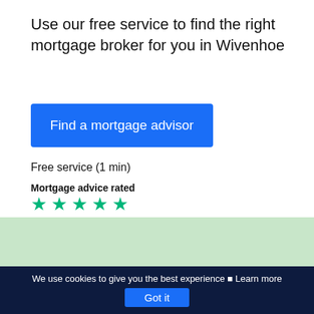Use our free service to find the right mortgage broker for you in Wivenhoe
[Figure (other): Blue button labeled 'Find a mortgage advisor']
Free service (1 min)
Mortgage advice rated
[Figure (other): Five green star rating icons]
We use cookies to give you the best experience ⬛ Learn more  Got it